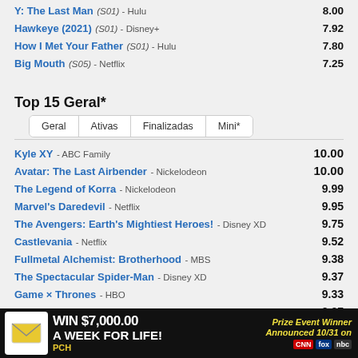Y: The Last Man (S01) - Hulu   8.00
Hawkeye (2021) (S01) - Disney+   7.92
How I Met Your Father (S01) - Hulu   7.80
Big Mouth (S05) - Netflix   7.25
Top 15 Geral*
Geral | Ativas | Finalizadas | Mini*
Kyle XY - ABC Family   10.00
Avatar: The Last Airbender - Nickelodeon   10.00
The Legend of Korra - Nickelodeon   9.99
Marvel's Daredevil - Netflix   9.95
The Avengers: Earth's Mightiest Heroes! - Disney XD   9.75
Castlevania - Netflix   9.52
Fullmetal Alchemist: Brotherhood - MBS   9.38
The Spectacular Spider-Man - Disney XD   9.37
Game × Thrones - HBO   9.33
The B... - ...   9.27
Rasca... - ...   9.27
[Figure (other): Advertisement banner: WIN $7,000.00 A WEEK FOR LIFE! Prize Event Winner Announced 10/31 on CNN Fox NBC - PCH]